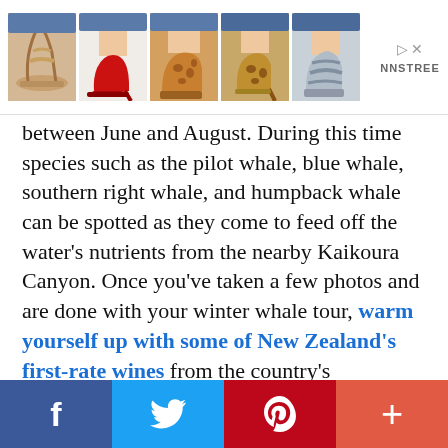[Figure (photo): Advertisement banner showing five pairs of women's shoes/heels with NNSTREE brand logo and close/play controls]
between June and August. During this time species such as the pilot whale, blue whale, southern right whale, and humpback whale can be spotted as they come to feed off the water's nutrients from the nearby Kaikoura Canyon. Once you've taken a few photos and are done with your winter whale tour, warm yourself up with some of New Zealand's first-rate wines from the country's Marlborough Region.
[Figure (infographic): Social media share bar with Facebook (blue), Twitter (light blue), Pinterest (red), and plus/more button (orange-red)]